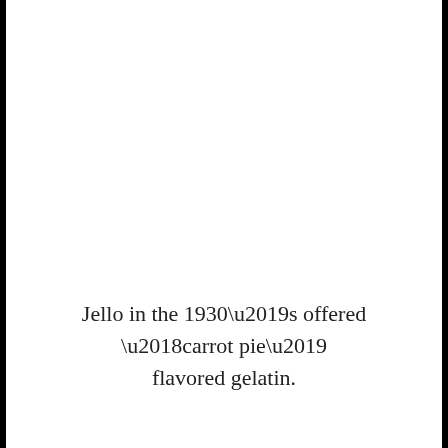Jello in the 1930’s offered ‘carrot pie’ flavored gelatin.